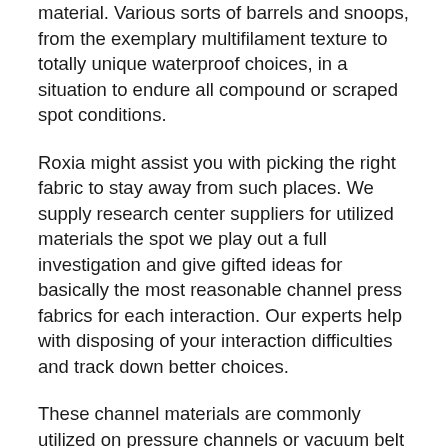material. Various sorts of barrels and snoops, from the exemplary multifilament texture to totally unique waterproof choices, in a situation to endure all compound or scraped spot conditions.
Roxia might assist you with picking the right fabric to stay away from such places. We supply research center suppliers for utilized materials the spot we play out a full investigation and give gifted ideas for basically the most reasonable channel press fabrics for each interaction. Our experts help with disposing of your interaction difficulties and track down better choices.
These channel materials are commonly utilized on pressure channels or vacuum belt channels and extra barely ever on gravity channels. Since these fabrics are hand-made in our sewing division, any aspect and attack of channel material expected by our possibilities can be custom fitted. Guaranteeing equivalent air penetrability is told top notch